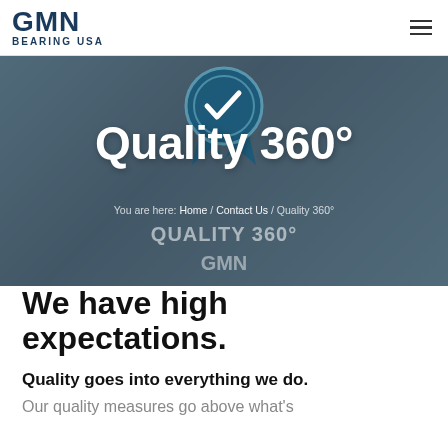GMN BEARING USA
[Figure (screenshot): Hero banner with blue quality badge/ribbon icon, title 'Quality 360°', breadcrumb navigation, and subtitle 'QUALITY 360° GMN' on a dark blue-gray factory background]
We have high expectations.
Quality goes into everything we do.
Our quality measures go above what's